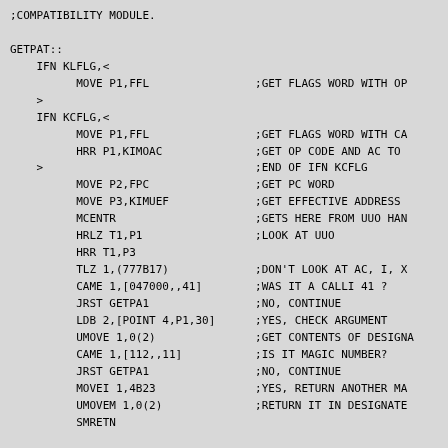;COMPATIBILITY MODULE.

GETPAT::
    IFN KLFLG,<
          MOVE P1,FFL                ;GET FLAGS WORD WITH OP
    >
    IFN KCFLG,<
          MOVE P1,FFL                ;GET FLAGS WORD WITH CA
          HRR P1,KIMOAC              ;GET OP CODE AND AC TO
    >                                ;END OF IFN KCFLG
          MOVE P2,FPC                ;GET PC WORD
          MOVE P3,KIMUEF             ;GET EFFECTIVE ADDRESS
          MCENTR                     ;GETS HERE FROM UUO HAN
          HRLZ T1,P1                 ;LOOK AT UUO
          HRR T1,P3
          TLZ 1,(777B17)             ;DON'T LOOK AT AC, I, X
          CAME 1,[047000,,41]        ;WAS IT A CALLI 41 ?
          JRST GETPA1                ;NO, CONTINUE
          LDB 2,[POINT 4,P1,30]      ;YES, CHECK ARGUMENT
          UMOVE 1,0(2)               ;GET CONTENTS OF DESIGNA
          CAME 1,[112,,11]           ;IS IT MAGIC NUMBER?
          JRST GETPA1                ;NO, CONTINUE
          MOVEI 1,4B23               ;YES, RETURN ANOTHER MA
          UMOVEM 1,0(2)              ;RETURN IT IN DESIGNATE
          SMRETN

GETPA1: SKIPGE T1,PATADR             ;FORCED INCOMPATABLILITY
          ITERR(ILINS4)              ;YES - GIVE ERROR.
          MOVE T1,PATADR             ;Get the possible entry
          HRROI T2,[ASCIZ /SYS:PA1050.EXE/]